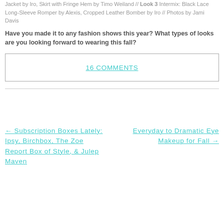Jacket by Iro, Skirt with Fringe Hem by Timo Weiland // Look 3 Intermix: Black Lace Long-Sleeve Romper by Alexis, Cropped Leather Bomber by Iro // Photos by Jami Davis
Have you made it to any fashion shows this year? What types of looks are you looking forward to wearing this fall?
16 COMMENTS
← Subscription Boxes Lately: Ipsy, Birchbox, The Zoe Report Box of Style, & Julep Maven
Everyday to Dramatic Eye Makeup for Fall →